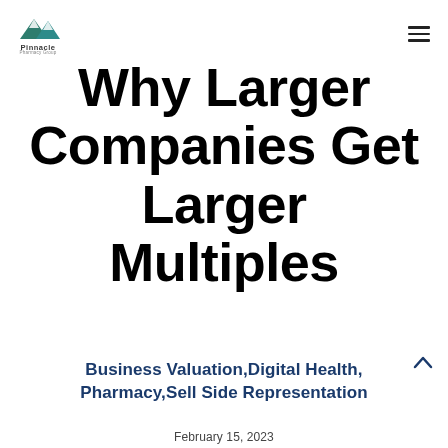[Figure (logo): Pinnacle Pharmacy Group logo with mountain peaks icon in dark teal/green and company name below]
Why Larger Companies Get Larger Multiples
Business Valuation,Digital Health, Pharmacy,Sell Side Representation
February 15, 2023